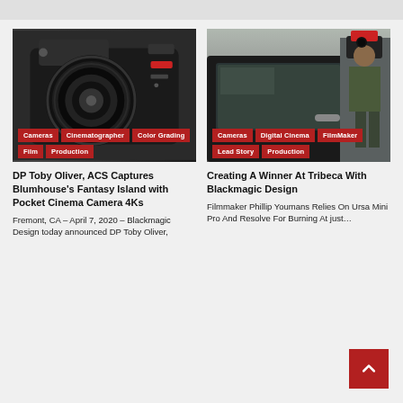[Figure (photo): Close-up of a black cinema camera with lens, Blackmagic Pocket Cinema Camera 4K]
[Figure (photo): Person filming with a camera outside a black car door, outdoor scene]
DP Toby Oliver, ACS Captures Blumhouse's Fantasy Island with Pocket Cinema Camera 4Ks
Fremont, CA – April 7, 2020 – Blackmagic Design today announced DP Toby Oliver,
Creating A Winner At Tribeca With Blackmagic Design
Filmmaker Phillip Youmans Relies On Ursa Mini Pro And Resolve For Burning At just…